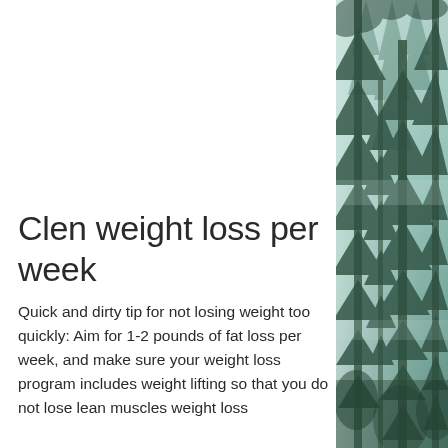[Figure (photo): A vertical strip photo on the right side of the page showing a misty forest with tall evergreen trees in green and teal tones, viewed looking up.]
Clen weight loss per week
Quick and dirty tip for not losing weight too quickly: Aim for 1-2 pounds of fat loss per week, and make sure your weight loss program includes weight lifting so that you do not lose lean muscles weight loss